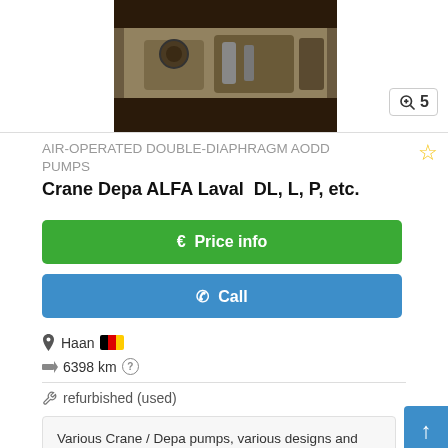[Figure (photo): Photo of an air-operated double-diaphragm pump, industrial machinery]
AIR-OPERATED DOUBLE-DIAPHRAGM AODD PUMPS
Crane Depa ALFA Laval  DL, L, P, etc.
€ Price info
✆ Call
Haan 🇩🇪
6398 km ?
refurbished (used)
Various Crane / Depa pumps, various designs and sizes, cpl. refurbished and available at short notice Bg78mom...
Save search query